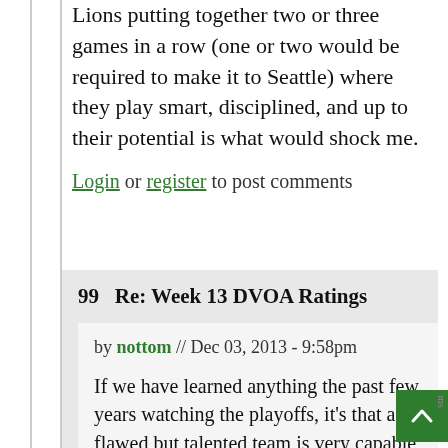Lions putting together two or three games in a row (one or two would be required to make it to Seattle) where they play smart, disciplined, and up to their potential is what would shock me.
Login or register to post comments
99 Re: Week 13 DVOA Ratings
by nottom // Dec 03, 2013 - 9:58pm
If we have learned anything the past few years watching the playoffs, it's that a flawed but talented team is very capable of stringing together 3-4 wins in the playoffs...